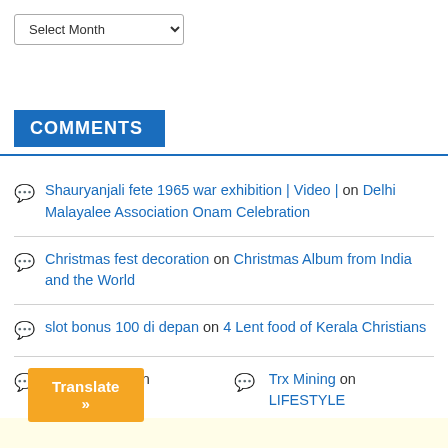[Figure (screenshot): A dropdown select element labeled 'Select Month' with a downward arrow indicator]
COMMENTS
Shauryanjali fete 1965 war exhibition | Video | on Delhi Malayalee Association Onam Celebration
Christmas fest decoration on Christmas Album from India and the World
slot bonus 100 di depan on 4 Lent food of Kerala Christians
Cloud Mining on LIFESTYLE   Trx Mining on LIFESTYLE
[Figure (screenshot): Orange 'Translate »' button at the bottom left, with a pale yellow background strip below]